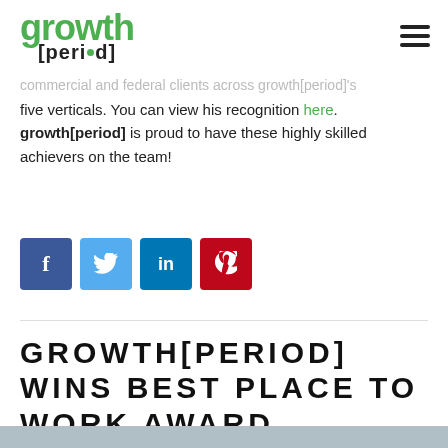growth[period]
commercial and federal clients across growth[period]'s five verticals. You can view his recognition here. growth[period] is proud to have these highly skilled achievers on the team!
[Figure (infographic): Social media sharing buttons: Facebook (blue), Twitter (light blue), LinkedIn (blue), Pinterest (red)]
GROWTH[PERIOD] WINS BEST PLACE TO WORK AWARD